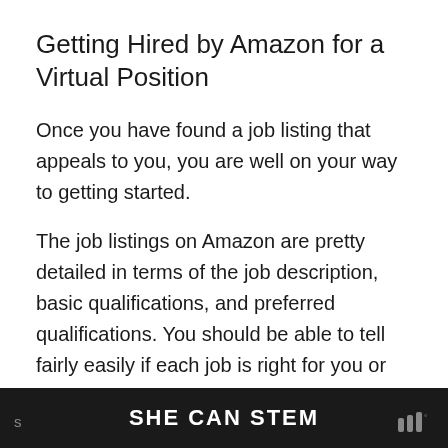Getting Hired by Amazon for a Virtual Position
Once you have found a job listing that appeals to you, you are well on your way to getting started.
The job listings on Amazon are pretty detailed in terms of the job description, basic qualifications, and preferred qualifications. You should be able to tell fairly easily if each job is right for you or not. If something is not quite a perfect match then you should check out the related jobs listed on the right-hand
SHE CAN STEM